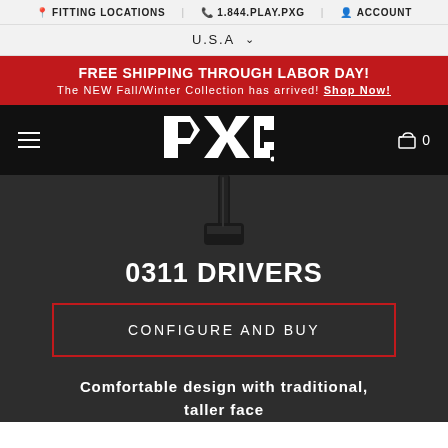FITTING LOCATIONS | 1.844.PLAY.PXG | ACCOUNT
U.S.A
FREE SHIPPING THROUGH LABOR DAY! The NEW Fall/Winter Collection has arrived! Shop Now!
[Figure (logo): PXG brand logo in white on black nav bar]
[Figure (photo): Golf club driver shaft shown from above, partially visible at top of dark product area]
0311 DRIVERS
CONFIGURE AND BUY
Comfortable design with traditional, taller face